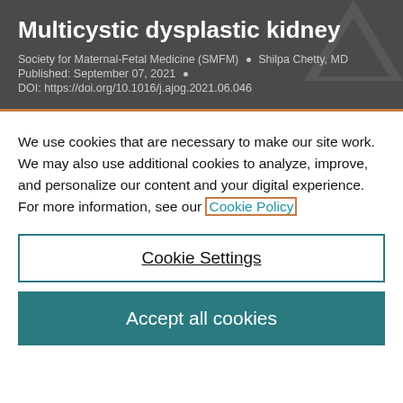Multicystic dysplastic kidney
Society for Maternal-Fetal Medicine (SMFM) • Shilpa Chetty, MD
Published: September 07, 2021 •
DOI: https://doi.org/10.1016/j.ajog.2021.06.046
We use cookies that are necessary to make our site work. We may also use additional cookies to analyze, improve, and personalize our content and your digital experience. For more information, see our Cookie Policy
Cookie Settings
Accept all cookies